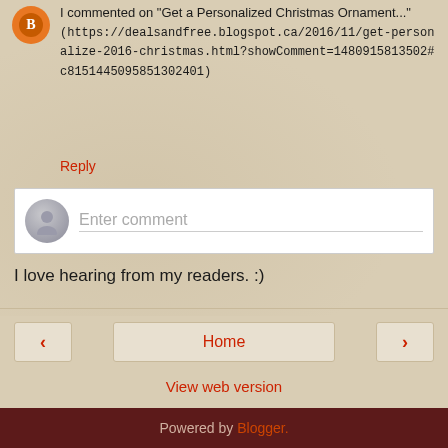I commented on "Get a Personalized Christmas Ornament..." (https://dealsandfree.blogspot.ca/2016/11/get-personalize-2016-christmas.html?showComment=1480915813502#c8151445095851302401)
Reply
Enter comment
I love hearing from my readers. :)
‹
Home
›
View web version
Powered by Blogger.